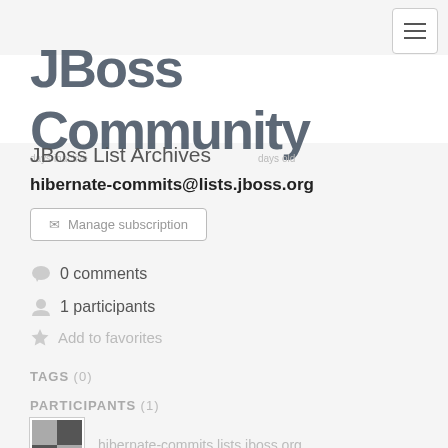[Figure (logo): JBoss Community logo with hamburger menu button in top right]
JBoss List Archives
days inactive   days old
hibernate-commits@lists.jboss.org
Manage subscription
0 comments
1 participants
Add to favorites
TAGS (0)
PARTICIPANTS (1)
hibernate-commits lists.jboss.org